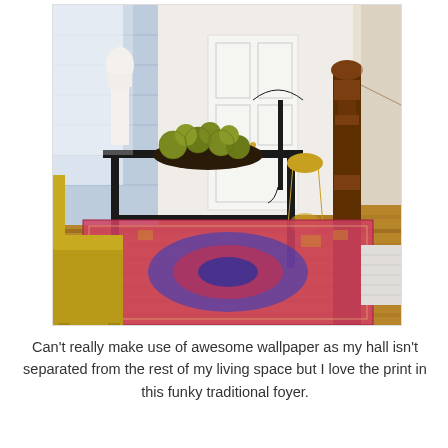[Figure (photo): Interior photo of a traditional foyer with a black console table topped with a bowl of green moss balls and a classical bust statue. A yellow chair is in the foreground left. A colorful pink and blue oriental rug lies on hardwood floors. A dark wood staircase newel post is visible on the right, and a white front door is visible in the background center.]
Can't really make use of awesome wallpaper as my hall isn't separated from the rest of my living space but I love the print in this funky traditional foyer.